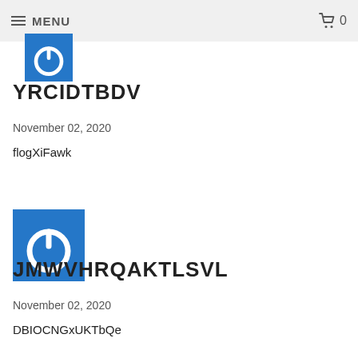MENU  0
[Figure (illustration): Blue square icon with white power button symbol, partially cropped at top]
YRCIDTBDV
November 02, 2020
flogXiFawk
[Figure (illustration): Blue square icon with white power button symbol]
JMWVHRQAKTLSVL
November 02, 2020
DBIOCNGxUKTbQe